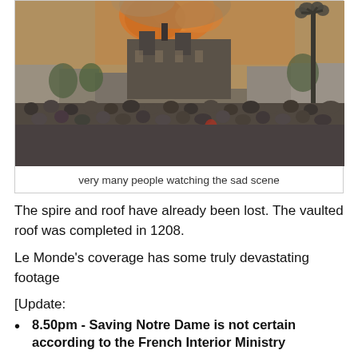[Figure (photo): Photograph of a large crowd watching Notre Dame cathedral on fire, with orange flames and smoke visible above the building. A street lamp is visible on the right side. Trees and Parisian buildings are visible in the background.]
very many people watching the sad scene
The spire and roof have already been lost. The vaulted roof was completed in 1208.
Le Monde's coverage has some truly devastating footage
[Update:
8.50pm - Saving Notre Dame is not certain according to the French Interior Ministry
They can't use water bombs as that makes collapse of the structure more likely
9.15pm BBC reporting that it's being said in